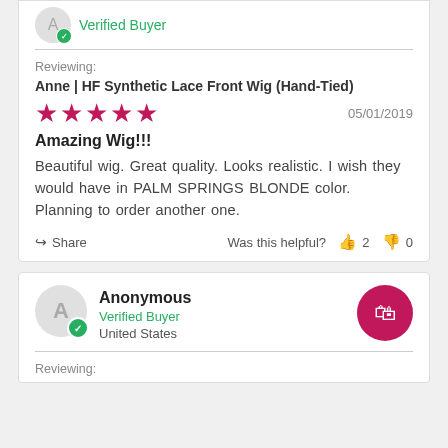Verified Buyer
Reviewing:
Anne | HF Synthetic Lace Front Wig (Hand-Tied)
★★★★★  05/01/2019
Amazing Wig!!!
Beautiful wig. Great quality. Looks realistic. I wish they would have in PALM SPRINGS BLONDE color. Planning to order another one.
Share  Was this helpful?  👍 2  👎 0
Anonymous
Verified Buyer
United States
Reviewing: